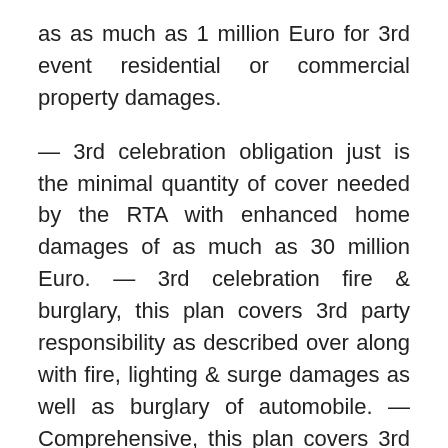as as much as 1 million Euro for 3rd event residential or commercial property damages.
— 3rd celebration obligation just is the minimal quantity of cover needed by the RTA with enhanced home damages of as much as 30 million Euro. — 3rd celebration fire & burglary, this plan covers 3rd party responsibility as described over along with fire, lighting & surge damages as well as burglary of automobile. — Comprehensive, this plan covers 3rd celebration fire & burglary plus unexpected damages, individual